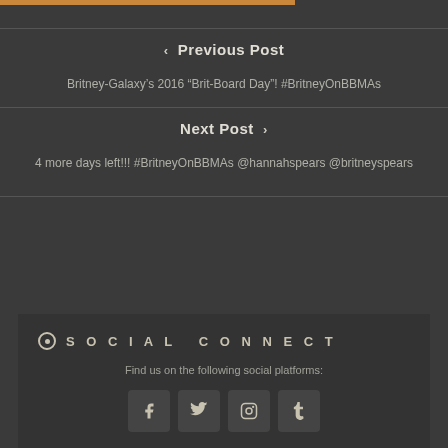< Previous Post
Britney-Galaxy's 2016 “Brit-Board Day”! #BritneyOnBBMAs
Next Post >
4 more days left!!! #BritneyOnBBMAs @hannahspears @britneyspears
Social Connect
Find us on the following social platforms:
[Figure (infographic): Four social media icon buttons: Facebook (f), Twitter (bird), Instagram (camera), Tumblr (t)]